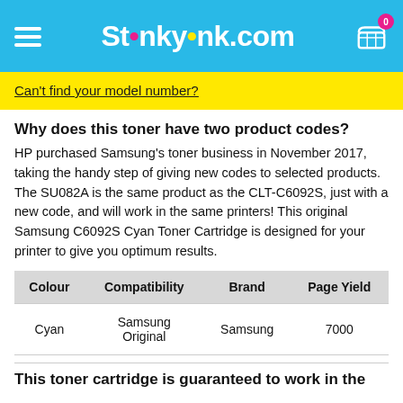Stinkyink.com
Can't find your model number?
Why does this toner have two product codes?
HP purchased Samsung's toner business in November 2017, taking the handy step of giving new codes to selected products. The SU082A is the same product as the CLT-C6092S, just with a new code, and will work in the same printers! This original Samsung C6092S Cyan Toner Cartridge is designed for your printer to give you optimum results.
| Colour | Compatibility | Brand | Page Yield |
| --- | --- | --- | --- |
| Cyan | Samsung Original | Samsung | 7000 |
This toner cartridge is guaranteed to work in the